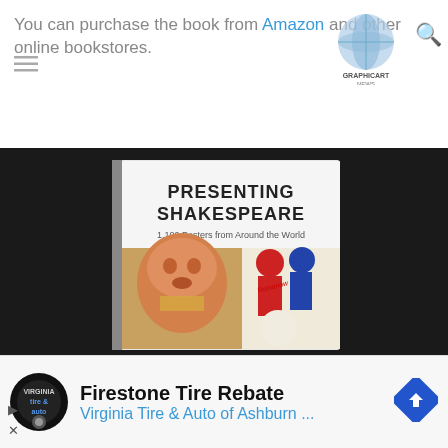You can purchase the book from Amazon and other online bookstores.
[Figure (logo): Graphicart News logo - blue globe/sphere graphic with text GRAPHICART NEWS]
[Figure (photo): Book cover photo of 'Presenting Shakespeare: 1,100 Posters from Around the World' displayed against a dark background, showing a colorful illustrated book cover with Shakespeare-themed poster artwork]
Privacy & Cookies: This site uses cookies. By continuing to use this site, you agree to their use. nd out more, including how to control cookies, see here: Cookie
[Figure (logo): Firestone tire and auto circular logo]
Firestone Tire Rebate
Virginia Tire & Auto of Ashburn ...